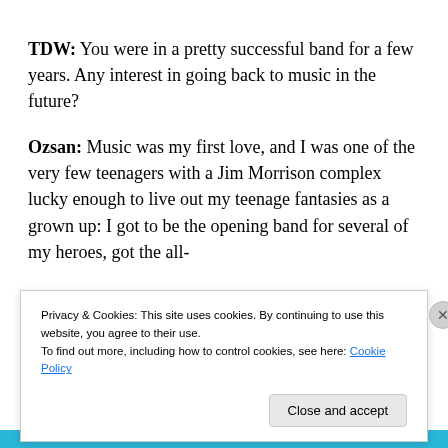TDW: You were in a pretty successful band for a few years. Any interest in going back to music in the future?
Ozsan: Music was my first love, and I was one of the very few teenagers with a Jim Morrison complex lucky enough to live out my teenage fantasies as a grown up: I got to be the opening band for several of my heroes, got the all-
Privacy & Cookies: This site uses cookies. By continuing to use this website, you agree to their use.
To find out more, including how to control cookies, see here: Cookie Policy
Close and accept